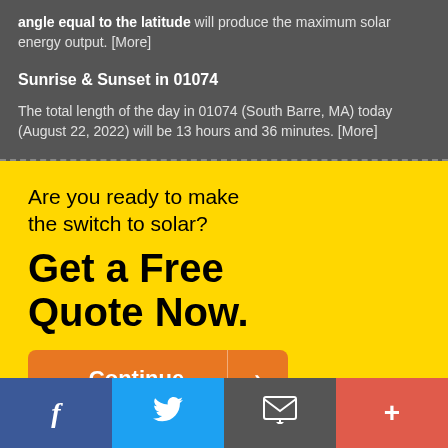angle equal to the latitude will produce the maximum solar energy output. [More]
Sunrise & Sunset in 01074
The total length of the day in 01074 (South Barre, MA) today (August 22, 2022) will be 13 hours and 36 minutes. [More]
Are you ready to make the switch to solar?
Get a Free Quote Now.
[Figure (other): Orange 'Continue' button with right arrow]
Facebook | Twitter | Email | Plus social share buttons